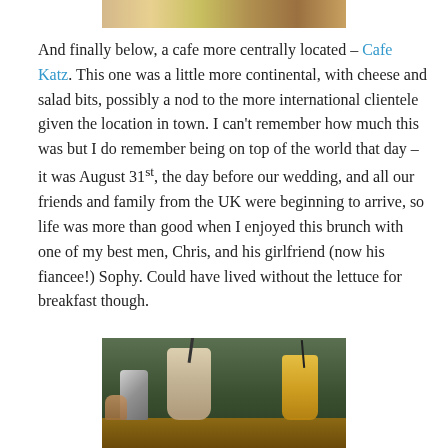[Figure (photo): Top portion of a food photo showing breakfast plate with eggs and sausages]
And finally below, a cafe more centrally located – Cafe Katz. This one was a little more continental, with cheese and salad bits, possibly a nod to the more international clientele given the location in town. I can't remember how much this was but I do remember being on top of the world that day – it was August 31st, the day before our wedding, and all our friends and family from the UK were beginning to arrive, so life was more than good when I enjoyed this brunch with one of my best men, Chris, and his girlfriend (now his fiancee!) Sophy. Could have lived without the lettuce for breakfast though.
[Figure (photo): Photo of drinks at Cafe Katz including a milkshake or smoothie, a metal jug, and a glass of orange juice on a wooden table with green background]